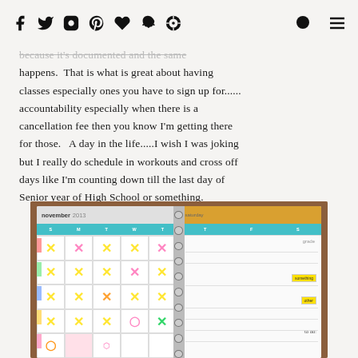[social icons: facebook, twitter, instagram, pinterest, heart, snapchat, target] [search icon] [menu icon]
because it's documented and the same happens.  That is what is great about having classes especially ones you have to sign up for...... accountability especially when there is a cancellation fee then you know I'm getting there for those.   A day in the life.....I wish I was joking but I really do schedule in workouts and cross off days like I'm counting down till the last day of Senior year of High School or something.
[Figure (photo): Open spiral-bound planner showing November 2013 monthly calendar with numerous X marks in yellow, pink, green, and orange highlighters crossing off days, with handwritten notes and sticky notes throughout]